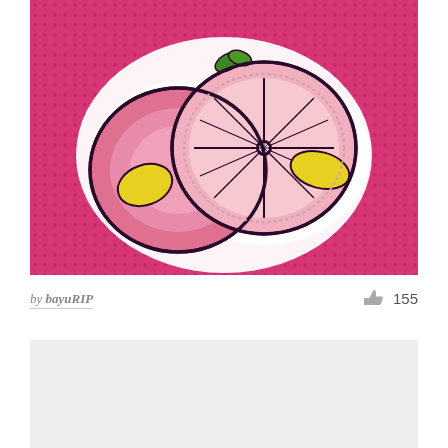[Figure (illustration): Pop-art style illustration of grapefruit slices on a pink halftone dotted background. Shows whole and sliced grapefruit with yellow accents, rendered in a comic/sticker style with white border outline, dark purple outlines, and pink tones.]
by bayuRIP
[Figure (illustration): Partial view of a second artwork below, showing a light gray/beige background, partially visible.]